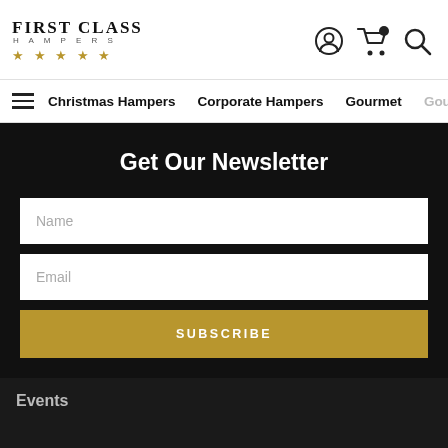FIRST CLASS HAMPERS ★★★★★
Christmas Hampers   Corporate Hampers   Gourmet   Gou
Get Our Newsletter
Name
Email
SUBSCRIBE
Events